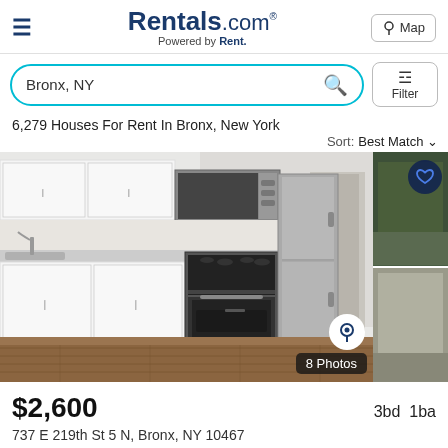[Figure (logo): Rentals.com logo — Powered by Rent.]
[Figure (screenshot): Search bar showing Bronx, NY with teal search icon and Filter button]
6,279 Houses For Rent In Bronx, New York
Sort: Best Match
[Figure (photo): Interior photo of a modern kitchen with white cabinets, stainless steel appliances (microwave, stove, refrigerator), marble backsplash, hardwood floors, and a hallway to the right. REZI badge and 8 Photos overlay in bottom right.]
$2,600
3bd  1ba
737 E 219th St 5 N, Bronx, NY 10467